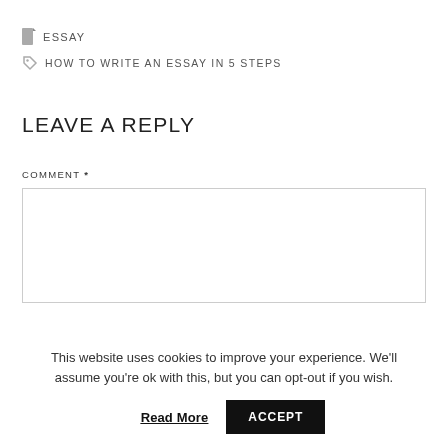ESSAY
HOW TO WRITE AN ESSAY IN 5 STEPS
LEAVE A REPLY
COMMENT *
This website uses cookies to improve your experience. We'll assume you're ok with this, but you can opt-out if you wish.
Read More  ACCEPT